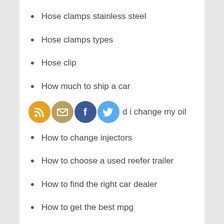Hose clamps stainless steel
Hose clamps types
Hose clip
How much to ship a car
How often should i change my oil
How to change injectors
How to choose a used reefer trailer
How to find the right car dealer
How to get the best mpg
How to replace ball joints
How to replace hybrid battery